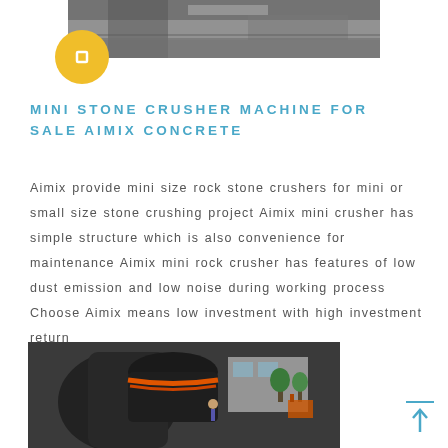[Figure (photo): Top partial photo of industrial stone crushing facility with conveyor and machinery]
[Figure (other): Yellow circular icon with a small square/bracket symbol]
MINI STONE CRUSHER MACHINE FOR SALE AIMIX CONCRETE
Aimix provide mini size rock stone crushers for mini or small size stone crushing project Aimix mini crusher has simple structure which is also convenience for maintenance Aimix mini rock crusher has features of low dust emission and low noise during working process Choose Aimix means low investment with high investment return
[Figure (photo): Close-up photo of a large cone crusher machine in an industrial yard, with orange straps visible and a forklift and trees in the background]